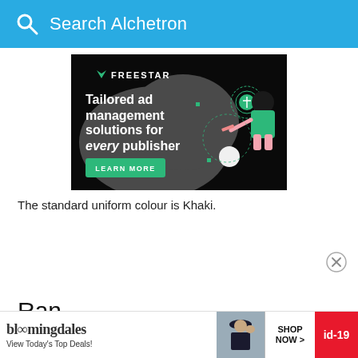Search Alchetron
[Figure (screenshot): Freestar advertisement banner: dark background with text 'Tailored ad management solutions for every publisher' and a green 'LEARN MORE' button, with illustrated character graphic]
The standard uniform colour is Khaki.
[Figure (screenshot): Close/dismiss button (X in circle)]
Ran
[Figure (screenshot): Bloomingdale's advertisement bar: logo, 'View Today's Top Deals!', model photo, SHOP NOW button, id-19 badge]